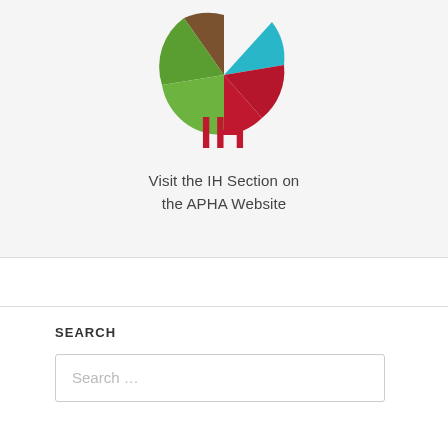[Figure (logo): IH Section logo: a circular segmented design with colored wedges (brown, green, teal, dark red/crimson) above bold red letters 'IH']
Visit the IH Section on the APHA Website
SEARCH
Search …